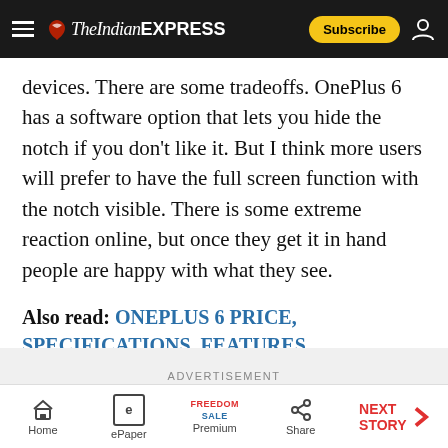The Indian EXPRESS
devices. There are some tradeoffs. OnePlus 6 has a software option that lets you hide the notch if you don't like it. But I think more users will prefer to have the full screen function with the notch visible. There is some extreme reaction online, but once they get it in hand people are happy with what they see.
Also read: ONEPLUS 6 PRICE, SPECIFICATIONS, FEATURES
ADVERTISEMENT
Home | ePaper | Premium | Share | NEXT STORY